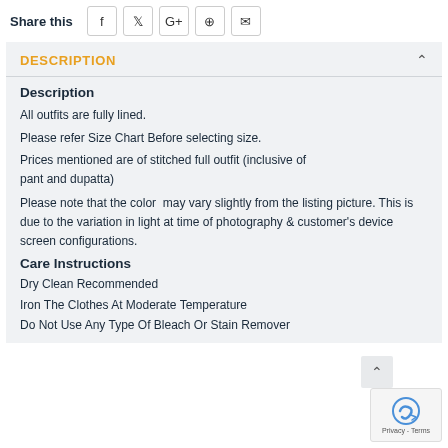Share this
DESCRIPTION
Description
All outfits are fully lined.
Please refer Size Chart Before selecting size.
Prices mentioned are of stitched full outfit (inclusive of pant and dupatta)
Please note that the color may vary slightly from the listing picture. This is due to the variation in light at time of photography & customer's device screen configurations.
Care Instructions
Dry Clean Recommended
Iron The Clothes At Moderate Temperature
Do Not Use Any Type Of Bleach Or Stain Remover